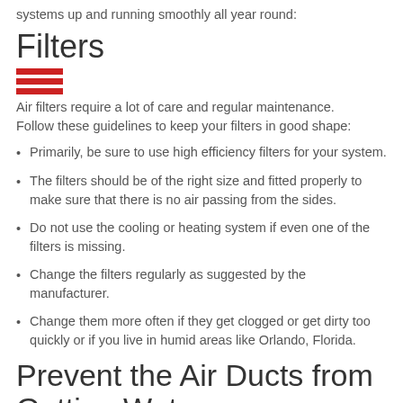systems up and running smoothly all year round:
Filters
Air filters require a lot of care and regular maintenance. Follow these guidelines to keep your filters in good shape:
Primarily, be sure to use high efficiency filters for your system.
The filters should be of the right size and fitted properly to make sure that there is no air passing from the sides.
Do not use the cooling or heating system if even one of the filters is missing.
Change the filters regularly as suggested by the manufacturer.
Change them more often if they get clogged or get dirty too quickly or if you live in humid areas like Orlando, Florida.
Prevent the Air Ducts from Getting Wet